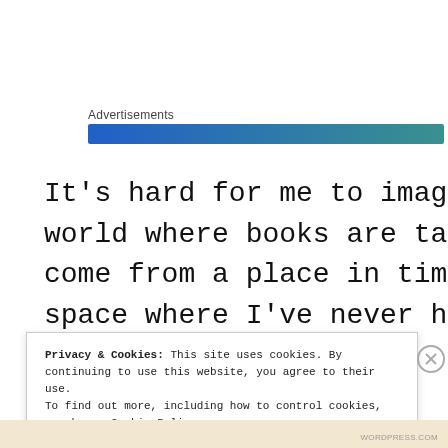Advertisements
[Figure (other): Horizontal gradient bar from blue to teal, below 'Advertisements' label]
It's hard for me to imagine a world where books are taboo. I come from a place in time and space where I've never had to
Privacy & Cookies: This site uses cookies. By continuing to use this website, you agree to their use.
To find out more, including how to control cookies, see here: Cookie Policy

Close and accept